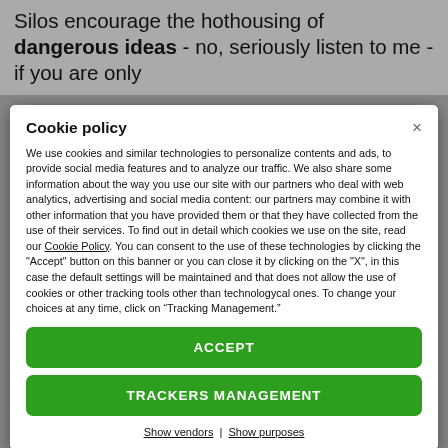Silos encourage the hothousing of dangerous ideas - no, seriously listen to me - if you are only
Cookie policy
We use cookies and similar technologies to personalize contents and ads, to provide social media features and to analyze our traffic. We also share some information about the way you use our site with our partners who deal with web analytics, advertising and social media content: our partners may combine it with other information that you have provided them or that they have collected from the use of their services. To find out in detail which cookies we use on the site, read our Cookie Policy. You can consent to the use of these technologies by clicking the "Accept" button on this banner or you can close it by clicking on the "X", in this case the default settings will be maintained and that does not allow the use of cookies or other tracking tools other than technologycal ones. To change your choices at any time, click on “Tracking Management.”
ACCEPT
TRACKERS MANAGEMENT
Show vendors | Show purposes